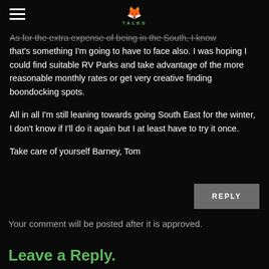FOX TALES
As for the extra expense of being in the South, I know that's something I'm going to have to face also. I was hoping I could find suitable RV Parks and take advantage of the more reasonable monthly rates or get very creative finding boondocking spots.

All in all I'm still leaning towards going South East for the winter, I don't know if I'll do it again but I at least have to try it once.

Take care of yourself Barney, Tom
REPLY
Your comment will be posted after it is approved.
Leave a Reply.